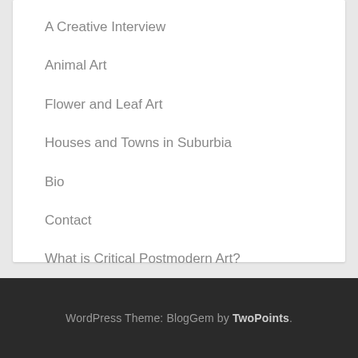A Creative Interview
Animal Art
Flower and Leaf Art
Houses and Towns in Suburbia
Bio
Contact
What is Critical Postmodern Art?
WordPress Theme: BlogGem by TwoPoints.